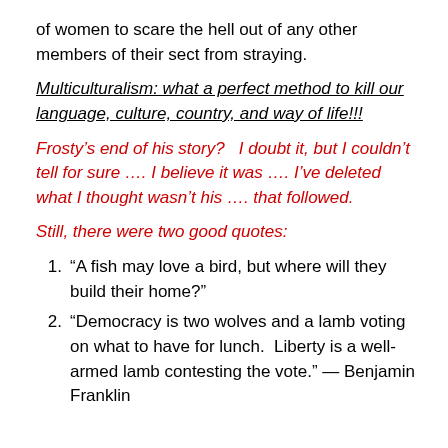of women to scare the hell out of any other members of their sect from straying.
Multiculturalism: what a perfect method to kill our language, culture, country, and way of life!!!
Frosty’s end of his story?   I doubt it, but I couldn’t tell for sure …. I believe it was …. I’ve deleted what I thought wasn’t his …. that followed.
Still, there were two good quotes:
“A fish may love a bird, but where will they build their home?”
“Democracy is two wolves and a lamb voting on what to have for lunch.  Liberty is a well-armed lamb contesting the vote.” — Benjamin Franklin